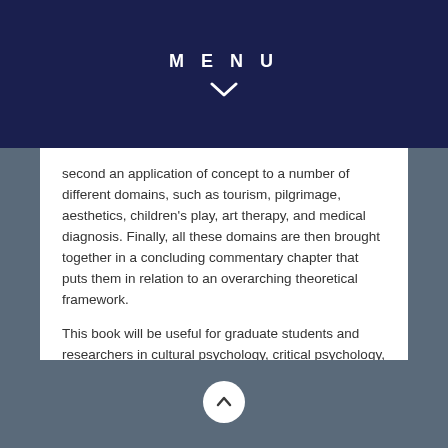MENU
second an application of concept to a number of different domains, such as tourism, pilgrimage, aesthetics, children's play, art therapy, and medical diagnosis. Finally, all these domains are then brought together in a concluding commentary chapter that puts them in relation to an overarching theoretical framework.
This book will be useful for graduate students and researchers in cultural psychology, critical psychology, psychosocial psychology, developmental psychology, health psychology, anthropology and the social sciences, cultural studies among others.
MORE ON THE PUBLISHER'S WEBPAGE